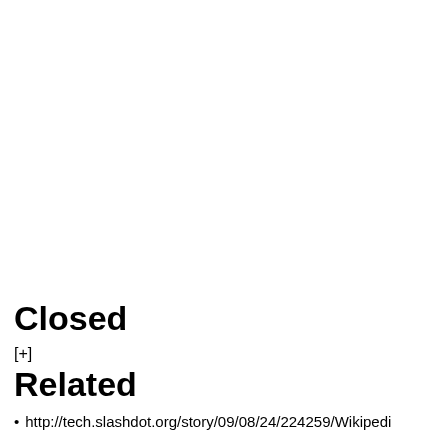Closed
[+]
Related
http://tech.slashdot.org/story/09/08/24/224259/Wikipedi